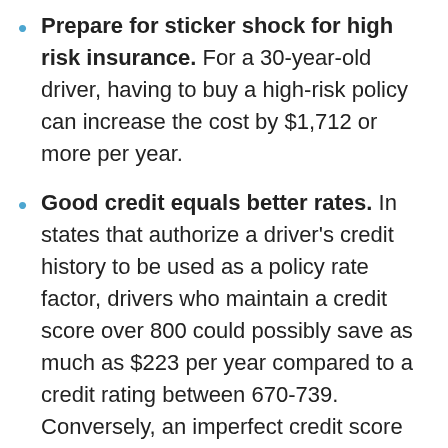Prepare for sticker shock for high risk insurance. For a 30-year-old driver, having to buy a high-risk policy can increase the cost by $1,712 or more per year.
Good credit equals better rates. In states that authorize a driver's credit history to be used as a policy rate factor, drivers who maintain a credit score over 800 could possibly save as much as $223 per year compared to a credit rating between 670-739. Conversely, an imperfect credit score below 579 could cost as much as $258 more per year.
Driver age and gender matter. For a